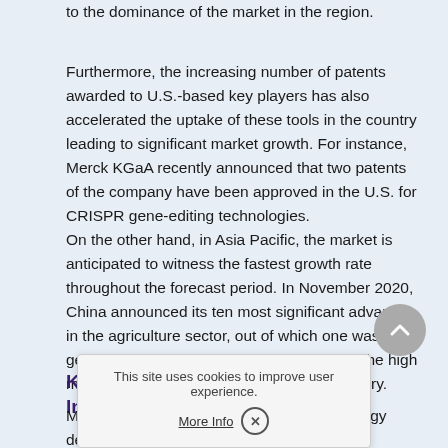to the dominance of the market in the region.
Furthermore, the increasing number of patents awarded to U.S.-based key players has also accelerated the uptake of these tools in the country leading to significant market growth. For instance, Merck KGaA recently announced that two patents of the company have been approved in the U.S. for CRISPR gene-editing technologies.
On the other hand, in Asia Pacific, the market is anticipated to witness the fastest growth rate throughout the forecast period. In November 2020, China announced its ten most significant advances in the agriculture sector, out of which one was gene-editing technology, thus representing the high market penetration of this space in the country.
Key Companies & Market Share Insights
Most of the players are unde... with technology developers t...